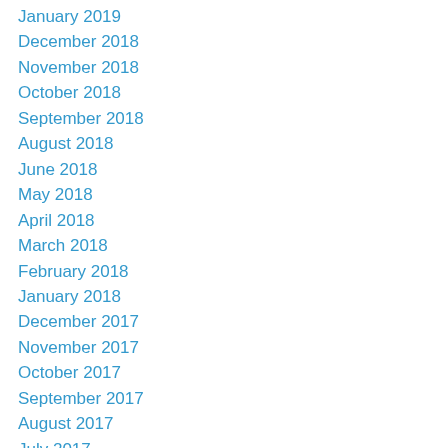January 2019
December 2018
November 2018
October 2018
September 2018
August 2018
June 2018
May 2018
April 2018
March 2018
February 2018
January 2018
December 2017
November 2017
October 2017
September 2017
August 2017
July 2017
June 2017
May 2017